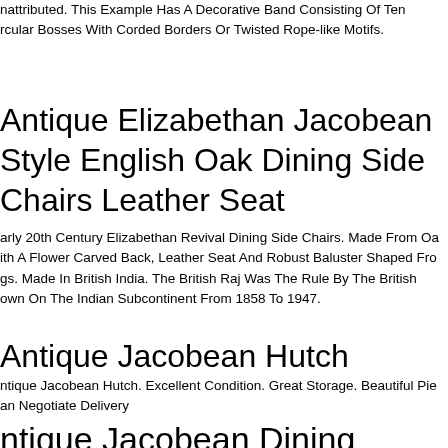nattributed. This Example Has A Decorative Band Consisting Of Ten rcular Bosses With Corded Borders Or Twisted Rope-like Motifs.
Antique Elizabethan Jacobean Style English Oak Dining Side Chairs Leather Seat
arly 20th Century Elizabethan Revival Dining Side Chairs. Made From Oa ith A Flower Carved Back, Leather Seat And Robust Baluster Shaped Fro gs. Made In British India. The British Raj Was The Rule By The British own On The Indian Subcontinent From 1858 To 1947.
Antique Jacobean Hutch
ntique Jacobean Hutch. Excellent Condition. Great Storage. Beautiful Pie an Negotiate Delivery
ntique Jacobean Dining Room S...